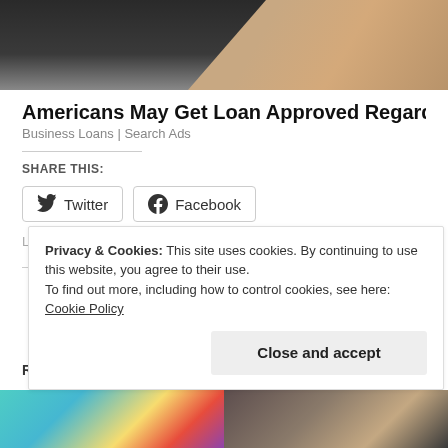[Figure (photo): Dark background with a hand showing palm, photographic image at top of page]
Americans May Get Loan Approved Regardless of Credit
Business Loans | Search Ads
SHARE THIS:
Twitter
Facebook
Loading...
Privacy & Cookies: This site uses cookies. By continuing to use this website, you agree to their use.
To find out more, including how to control cookies, see here: Cookie Policy
Close and accept
[Figure (photo): Two thumbnail images at bottom of page]
R